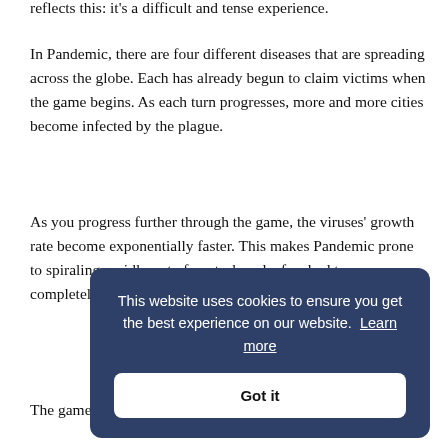reflects this: it's a difficult and tense experience.
In Pandemic, there are four different diseases that are spreading across the globe. Each has already begun to claim victims when the game begins. As each turn progresses, more and more cities become infected by the plague.
As you progress further through the game, the viruses' growth rate become exponentially faster. This makes Pandemic prone to spiraling rapidly out of control, and a few bad turns can completely sink your efforts.
[Figure (other): Cookie consent banner with dark blue background. Text reads: 'This website uses cookies to ensure you get the best experience on our website. Learn more'. Below is a white 'Got it' button.]
The game really rewards players who really think